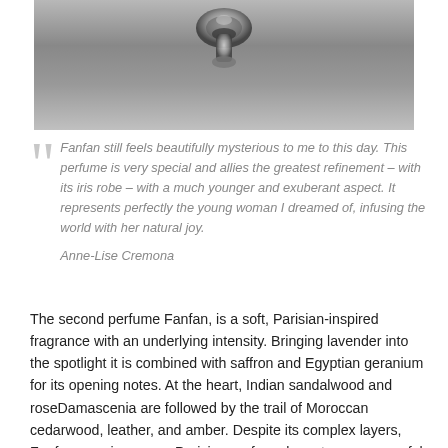[Figure (photo): Black and white photograph of a perfume bottle stopper/cap viewed from above against a grey gradient background]
“Fanfan still feels beautifully mysterious to me to this day. This perfume is very special and allies the greatest refinement – with its iris robe – with a much younger and exuberant aspect. It represents perfectly the young woman I dreamed of, infusing the world with her natural joy. Anne-Lise Cremona
The second perfume Fanfan, is a soft, Parisian-inspired fragrance with an underlying intensity. Bringing lavender into the spotlight it is combined with saffron and Egyptian geranium for its opening notes. At the heart, Indian sandalwood and roseDamascenia are followed by the trail of Moroccan cedarwood, leather, and amber. Despite its complex layers, Fanfan remains a very Parisian perfume by nature, as graceful as it is